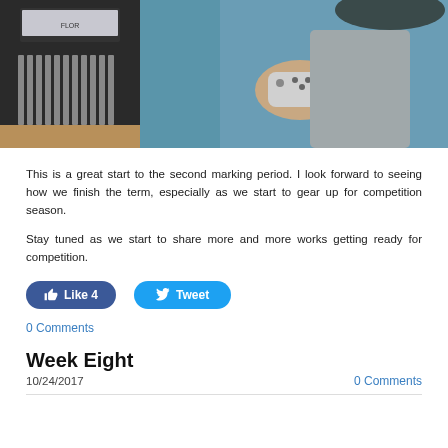[Figure (photo): Student holding a small game controller or device in a classroom setting, with what appears to be a xylophone or musical instrument keyboard in the background. Another student is partially visible.]
This is a great start to the second marking period. I look forward to seeing how we finish the term, especially as we start to gear up for competition season.
Stay tuned as we start to share more and more works getting ready for competition.
Like 4   Tweet
0 Comments
Week Eight
10/24/2017   0 Comments